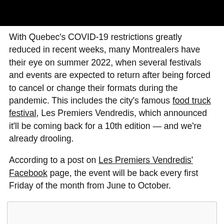With Quebec's COVID-19 restrictions greatly reduced in recent weeks, many Montrealers have their eye on summer 2022, when several festivals and events are expected to return after being forced to cancel or change their formats during the pandemic. This includes the city's famous food truck festival, Les Premiers Vendredis, which announced it'll be coming back for a 10th edition — and we're already drooling.
According to a post on Les Premiers Vendredis' Facebook page, the event will be back every first Friday of the month from June to October.
[Figure (other): Embedded content box (light gray bordered rectangle, likely a social media embed placeholder)]